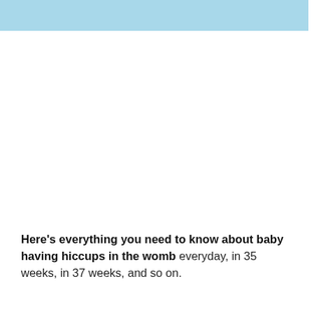[Figure (other): Light blue decorative header bar at the top of the page]
Here's everything you need to know about baby having hiccups in the womb everyday, in 35 weeks, in 37 weeks, and so on.